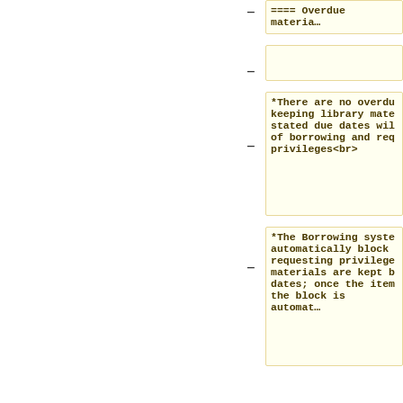==== Overdue materia…
*There are no overdue fines for keeping library materials past their stated due dates will result in loss of borrowing and requesting privileges<br>
*The Borrowing system will automatically block borrowing and requesting privileges when materials are kept beyond their due dates; once the items are returned, the block is automatically…
*Reserve, media equipment, NExpress, hold and recall items are in high demand by the community
*Items in high demand… manual block if kept…